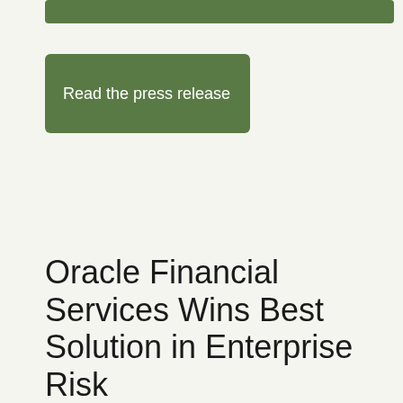[Figure (other): Green horizontal bar at top of page]
Read the press release
Oracle Financial Services Wins Best Solution in Enterprise Risk